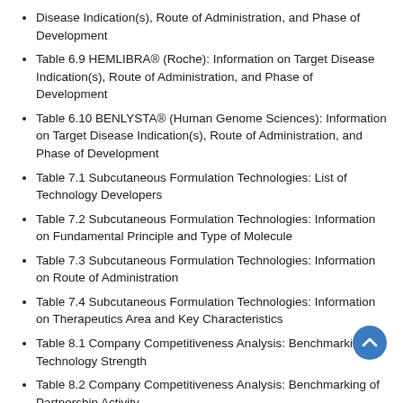Disease Indication(s), Route of Administration, and Phase of Development
Table 6.9 HEMLIBRA® (Roche): Information on Target Disease Indication(s), Route of Administration, and Phase of Development
Table 6.10 BENLYSTA® (Human Genome Sciences): Information on Target Disease Indication(s), Route of Administration, and Phase of Development
Table 7.1 Subcutaneous Formulation Technologies: List of Technology Developers
Table 7.2 Subcutaneous Formulation Technologies: Information on Fundamental Principle and Type of Molecule
Table 7.3 Subcutaneous Formulation Technologies: Information on Route of Administration
Table 7.4 Subcutaneous Formulation Technologies: Information on Therapeutics Area and Key Characteristics
Table 8.1 Company Competitiveness Analysis: Benchmarking of Technology Strength
Table 8.2 Company Competitiveness Analysis: Benchmarking of Partnership Activity